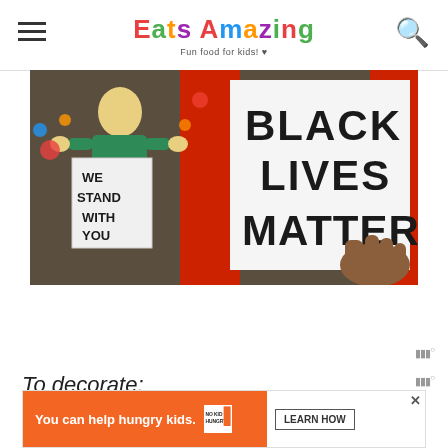Eats Amazing - Fun food for kids!
[Figure (illustration): Painting showing a figure in a green shirt holding a sign reading 'WE STAND WITH YOU' next to a large sign reading 'BLACK LIVES MATTER' held by a brown hand, with red fabric/curtain in background]
To decorate:
[Figure (other): Advertisement banner: 'You can help hungry kids. NO KID HUNGRY LEARN HOW']